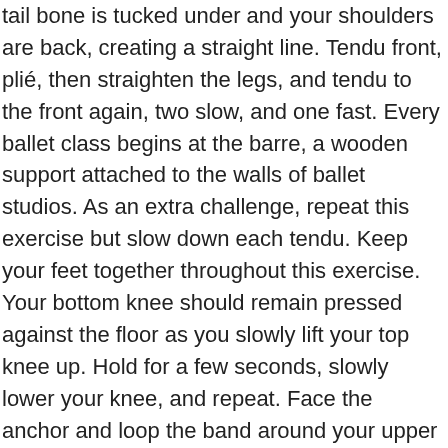tail bone is tucked under and your shoulders are back, creating a straight line. Tendu front, plié, then straighten the legs, and tendu to the front again, two slow, and one fast. Every ballet class begins at the barre, a wooden support attached to the walls of ballet studios. As an extra challenge, repeat this exercise but slow down each tendu. Keep your feet together throughout this exercise. Your bottom knee should remain pressed against the floor as you slowly lift your top knee up. Hold for a few seconds, slowly lower your knee, and repeat. Face the anchor and loop the band around your upper left thigh. Perform a lunge stepping forward with your right leg and kneeling with your left knee on the floor (forming a 90° angle). Turn your right lower leg and foot outward and lean forward slightly. Lift your left arm above your head and lean to the right for a good stretch. Stand sideways, so your right leg is closer to the barre, in parallel position. Slide the resistance band loop around your left knee. Rotate your left knee outward into a turned-out retiré. Repeat ten times, then turn out your standing leg and